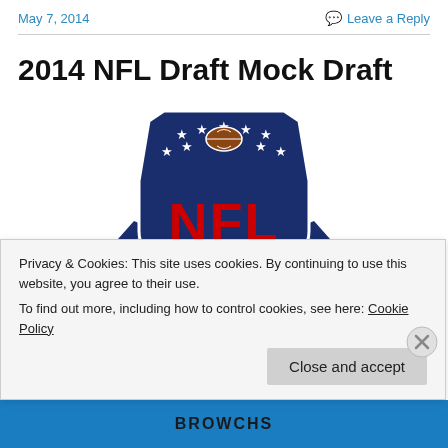May 7, 2014    Leave a Reply
2014 NFL Draft Mock Draft
[Figure (logo): NFL shield logo with blue background, red NFL letters, white stars and football at top, surrounded by stadium-like structure]
Privacy & Cookies: This site uses cookies. By continuing to use this website, you agree to their use.
To find out more, including how to control cookies, see here: Cookie Policy
Close and accept